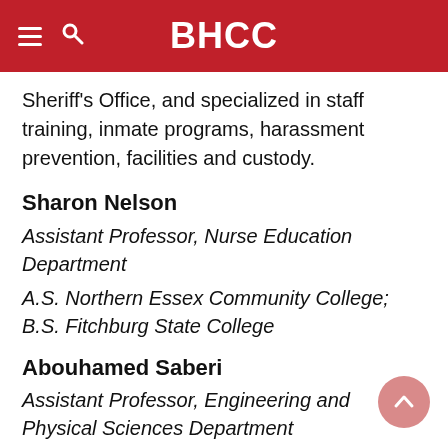BHCC
Sheriff's Office, and specialized in staff training, inmate programs, harassment prevention, facilities and custody.
Sharon Nelson
Assistant Professor, Nurse Education Department
A.S. Northern Essex Community College; B.S. Fitchburg State College
Abouhamed Saberi
Assistant Professor, Engineering and Physical Sciences Department
B.S. The Isfahan University of Technology,